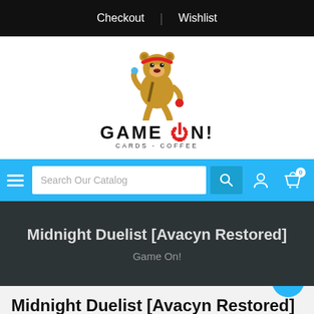Checkout | Wishlist
[Figure (logo): Game On! Cards - Coffee logo with pixel-art bear mascot]
Search Our Catalog
Midnight Duelist [Avacyn Restored]
Game On!
Midnight Duelist [Avacyn Restored]